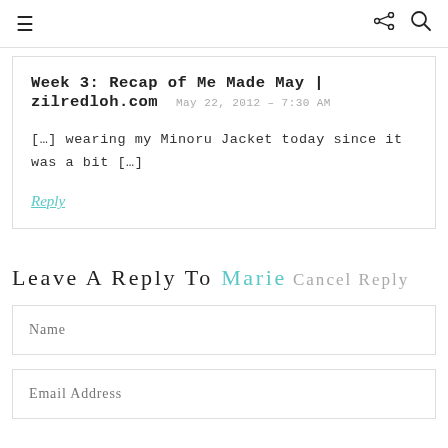≡  share search
Week 3: Recap of Me Made May | zilredloh.com  May 22, 2012 – 7:30 AM
[…] wearing my Minoru Jacket today since it was a bit […]
Reply
Leave A Reply To Marie Cancel Reply
Name
Email Address